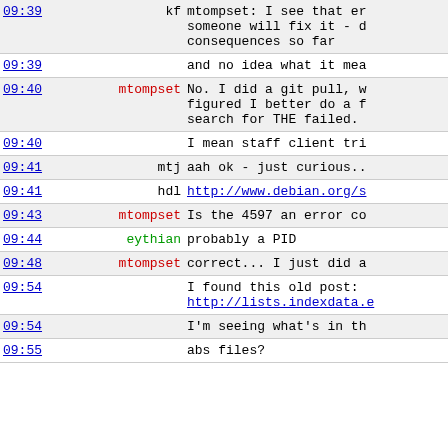| time | user | message |
| --- | --- | --- |
| 09:39 | kf | mtompset: I see that er someone will fix it - d consequences so far |
| 09:39 |  | and no idea what it mea |
| 09:40 | mtompset | No. I did a git pull, w figured I better do a f search for THE failed. |
| 09:40 |  | I mean staff client tri |
| 09:41 | mtj | aah ok - just curious.. |
| 09:41 | hdl | http://www.debian.org/s |
| 09:43 | mtompset | Is the 4597 an error co |
| 09:44 | eythian | probably a PID |
| 09:48 | mtompset | correct... I just did a |
| 09:54 |  | I found this old post: http://lists.indexdata.e |
| 09:54 |  | I'm seeing what's in th |
| 09:55 |  | abs files? |